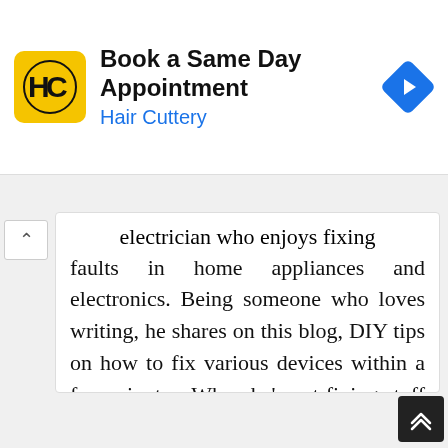[Figure (infographic): Hair Cuttery advertisement banner with logo, 'Book a Same Day Appointment' title, 'Hair Cuttery' subtitle, and a blue navigation arrow icon]
electrician who enjoys fixing faults in home appliances and electronics. Being someone who loves writing, he shares on this blog, DIY tips on how to fix various devices within a few minutes. When he's not fixing stuff or writing a new blog post, he's playing with his two cute girls and their mom.
View all posts